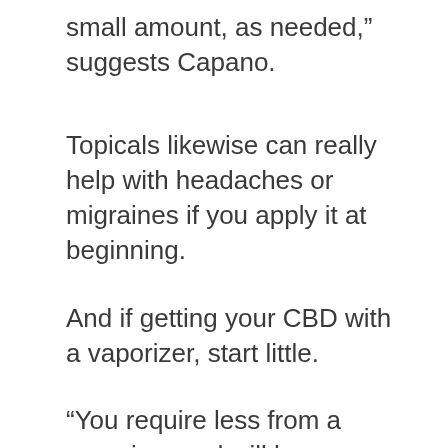small amount, as needed,” suggests Capano.
Topicals likewise can really help with headaches or migraines if you apply it at beginning.
And if getting your CBD with a vaporizer, start little.
“You require less from a vaporizer and will have an extremely fast beginning,” she says.
For this reason, she recommends trying simply 2.5 mg at.
Whenever you’re beginning with a new